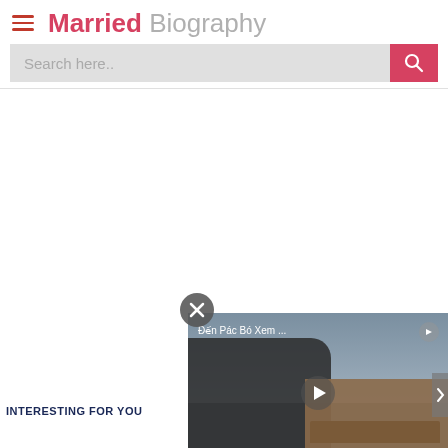Married Biography
Search here..
[Figure (screenshot): Video popup showing a scene with text 'Đến Pác Bó Xem ...' and a play button, with a close (X) button]
INTERESTING FOR YOU
Next Bio >> Paddy Con...